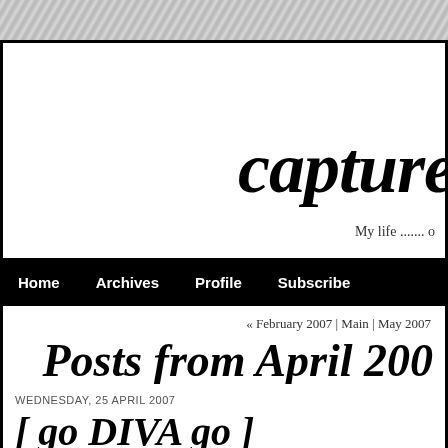[Figure (other): Diagonal striped texture background at top of page]
capture
My life ....... o
Home   Archives   Profile   Subscribe
« February 2007 | Main | May 2007
Posts from April 200
WEDNESDAY, 25 APRIL 2007
[ go DIVA go ]